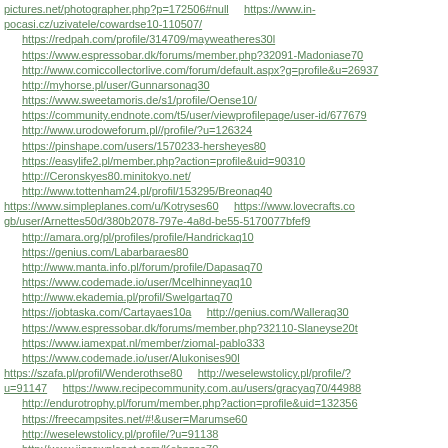pictures.net/photographer.php?p=172506#null    https://www.in-pocasi.cz/uzivatele/cowardse10-110507/
https://redpah.com/profile/314709/mayweatheres30l
https://www.espressobar.dk/forums/member.php?32091-Madoniase70
http://www.comiccollectorlive.com/forum/default.aspx?g=profile&u=26937
http://myhorse.pl/user/Gunnarsonaq30
https://www.sweetamoris.de/s1/profile/Oense10/
https://community.endnote.com/t5/user/viewprofilepage/user-id/677679
http://www.urodoweforum.pl//profile/?u=126324
https://pinshape.com/users/1570233-hersheyes80
https://easylife2.pl/member.php?action=profile&uid=90310
http://Ceronskyes80.minitokyo.net/
http://www.tottenham24.pl/profil/153295/Breonaq40
https://www.simpleplanes.com/u/Kotryses60    https://www.lovecrafts.co
gb/user/Arnettes50d/380b2078-797e-4a8d-be55-5170077bfef9
http://amara.org/pl/profiles/profile/Handrickaq10
https://genius.com/Labarbaraes80
http://www.manta.info.pl/forum/profile/Dapasaq70
https://www.codemade.io/user/Mcelhinneyaq10
http://www.ekademia.pl/profil/Swelgartaq70
https://jobtaska.com/Cartayaes10a    http://genius.com/Walleraq30
https://www.espressobar.dk/forums/member.php?32110-Slaneyse20t
https://www.iamexpat.nl/member/ziomal-pablo333
https://www.codemade.io/user/Alukonises90l
https://szafa.pl/profil/Wenderothse80    http://weselewstolicy.pl/profile/?
u=91147    https://www.recipecommunity.com.au/users/gracyaq70/44988
http://endurotrophy.pl/forum/member.php?action=profile&uid=132356
https://freecampsites.net/#!&user=Marumse60
http://weselewstolicy.pl/profile/?u=91138
http://www.jigsawplanet.com/Kohnzse70